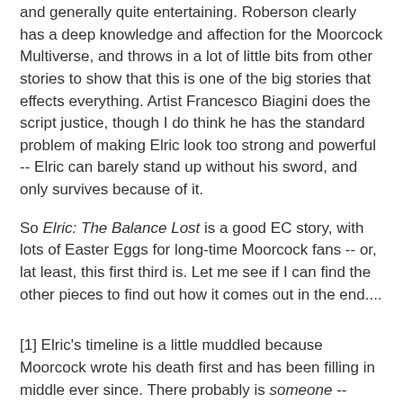and generally quite entertaining. Roberson clearly has a deep knowledge and affection for the Moorcock Multiverse, and throws in a lot of little bits from other stories to show that this is one of the big stories that effects everything. Artist Francesco Biagini does the script justice, though I do think he has the standard problem of making Elric look too strong and powerful -- Elric can barely stand up without his sword, and only survives because of it.
So Elric: The Balance Lost is a good EC story, with lots of Easter Eggs for long-time Moorcock fans -- or, lat least, this first third is. Let me see if I can find the other pieces to find out how it comes out in the end....
[1] Elric's timeline is a little muddled because Moorcock wrote his death first and has been filling in middle ever since. There probably is someone -- maybe even Roberson -- who knows how all of the Elric stories are related in time, but that person is not me.
[Figure (logo): Amazon logo with orange arrow and product image below]